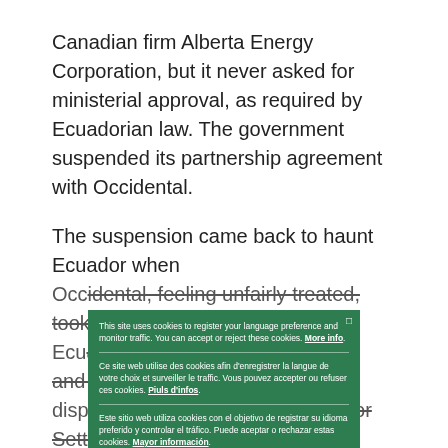Canadian firm Alberta Energy Corporation, but it never asked for ministerial approval, as required by Ecuadorian law. The government suspended its partnership agreement with Occidental.
The suspension came back to haunt Ecuador when Occidental, feeling unfairly treated, took recourse to the US-Ecuador bilateral investment treaty and filed an international dispute. The International Centre for Settlement of Investment Disputes (ICSID) tribunal ruled against the country and tallied the compensation Occidental was owed. The award is the biggest in the history of investment arbitration: $2.3 billion. The era of investor-state dispute settlement (ISDS), which gives investors the power of ISDS tribunals to sue states at ISDS if they are deemed to flout the rather hazy legal confines set out in old-era IIAs, also goes some way to explain why many countries have become uncomfortable with the power these treaties give commercial actors. Increasingly, countries are looking to
[Figure (other): Cookie consent modal overlay in dark green. Three language sections (English, French, Spanish) with cookie usage notices and links for more info. A light green 'Ok' button at the bottom.]